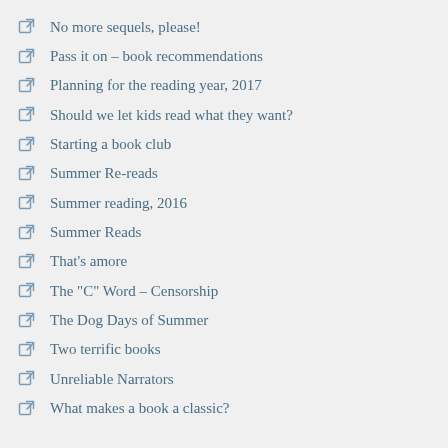No more sequels, please!
Pass it on – book recommendations
Planning for the reading year, 2017
Should we let kids read what they want?
Starting a book club
Summer Re-reads
Summer reading, 2016
Summer Reads
That's amore
The "C" Word – Censorship
The Dog Days of Summer
Two terrific books
Unreliable Narrators
What makes a book a classic?